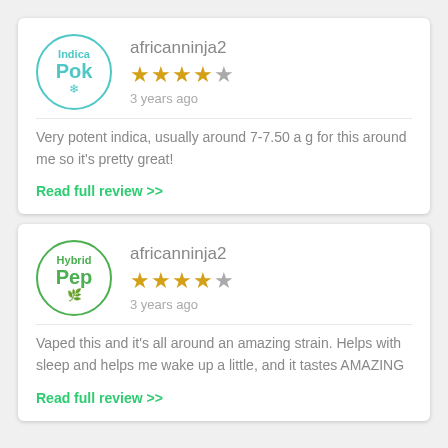Indica Pok
africanninja2
★★★★☆ 3 years ago
Very potent indica, usually around 7-7.50 a g for this around me so it's pretty great!
Read full review >>
Hybrid Pep
africanninja2
★★★★☆ 3 years ago
Vaped this and it's all around an amazing strain. Helps with sleep and helps me wake up a little, and it tastes AMAZING
Read full review >>